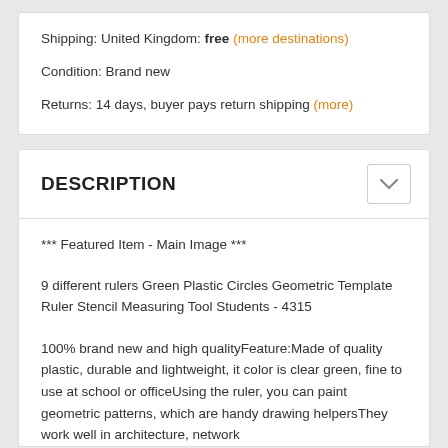Shipping: United Kingdom: free (more destinations)
Condition: Brand new
Returns: 14 days, buyer pays return shipping (more)
DESCRIPTION
*** Featured Item - Main Image ***
9 different rulers Green Plastic Circles Geometric Template Ruler Stencil Measuring Tool Students - 4315
100% brand new and high qualityFeature:Made of quality plastic, durable and lightweight, it color is clear green, fine to use at school or officeUsing the ruler, you can paint geometric patterns, which are handy drawing helpersThey work well in architecture, network